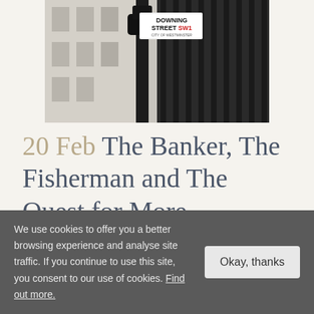[Figure (photo): Photograph of Downing Street SW1 street sign on a black ornamental lamp post with iron railings in the background]
20 Feb The Banker, The Fisherman and The Quest for More
We use cookies to offer you a better browsing experience and analyse site traffic. If you continue to use this site, you consent to our use of cookies. Find out more.